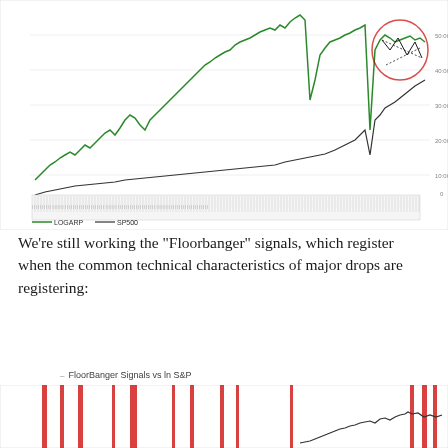[Figure (continuous-plot): Line chart showing LOGARP (green line) and SP500 (black line) over time. The green line peaks higher and shows a circled area near the right side with a triangle pattern annotation. A volume/bar section appears at the bottom of the chart. Legend shows: LOGARP (green line) and SP500 (black line). Y-axis labels: approximately 0, 10:00, 30:00, 50:00.]
We’re still working the “Floorbanger” signals, which register when the common technical characteristics of major drops are registering:
FloorBanger Signals vs ln S&P
[Figure (continuous-plot): Chart showing FloorBanger signals (red vertical bars/spikes) overlaid against ln S&P (black line trending up on right side). Multiple red signal bars appear at various points. The S&P line is visible on the right portion trending upward with recent signals shown.]